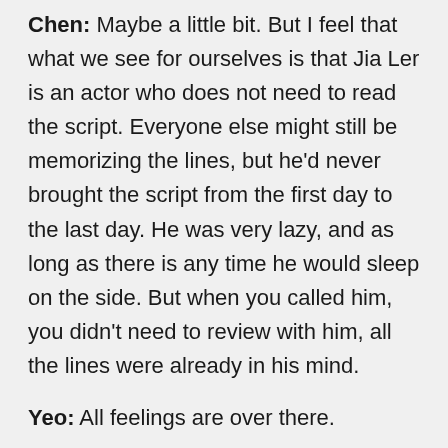Chen: Maybe a little bit. But I feel that what we see for ourselves is that Jia Ler is an actor who does not need to read the script. Everyone else might still be memorizing the lines, but he'd never brought the script from the first day to the last day. He was very lazy, and as long as there is any time he would sleep on the side. But when you called him, you didn't need to review with him, all the lines were already in his mind.
Yeo: All feelings are over there.
Chen: Yes, he has a kind of… I don't know, he